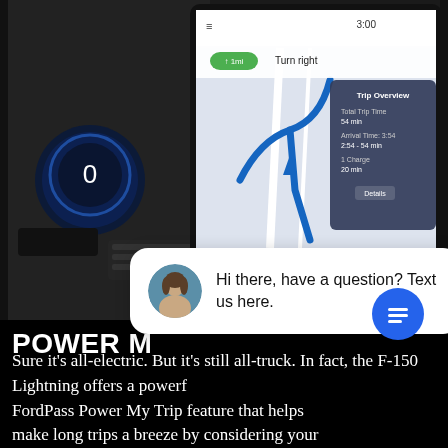[Figure (screenshot): Ford F-150 Lightning truck interior dashboard with large touchscreen displaying navigation map and trip overview. The screen shows a blue GPS route, trip time details, and media controls. A 'close' button is visible at bottom right of the screen overlay.]
Hi there, have a question? Text us here.
POWER M
Sure it's all-electric. But it's still all-truck. In fact, the F-150 Lightning offers a powerful FordPass Power My Trip feature that helps make long trips a breeze by considering your